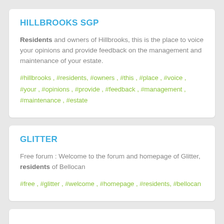HILLBROOKS SGP
Residents and owners of Hillbrooks, this is the place to voice your opinions and provide feedback on the management and maintenance of your estate.
#hillbrooks , #residents, #owners , #this , #place , #voice , #your , #opinions , #provide , #feedback , #management , #maintenance , #estate
GLITTER
Free forum : Welcome to the forum and homepage of Glitter, residents of Bellocan
#free , #glitter , #welcome , #homepage , #residents, #bellocan